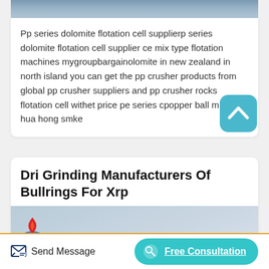[Figure (photo): Construction site aerial photo (partially visible at top)]
Pp series dolomite flotation cell supplierp series dolomite flotation cell supplier ce mix type flotation machines mygroupbargainolomite in new zealand in north island you can get the pp crusher products from global pp crusher suppliers and pp crusher rocks flotation cell withet price pe series cpopper ball mill from hua hong smke
[Figure (illustration): Scroll-to-top button with upward chevron arrow, teal/cyan rounded square button]
Dri Grinding Manufacturers Of Bullrings For Xrp
[Figure (photo): Partially visible image with a flame logo/icon in red and blue]
Send Message   Free Consultation